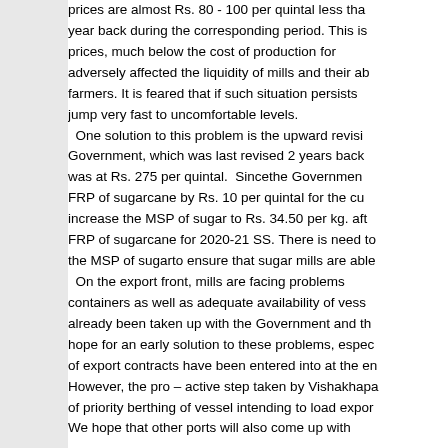prices are almost Rs. 80 - 100 per quintal less than a year back during the corresponding period. This is prices, much below the cost of production for adversely affected the liquidity of mills and their ability to pay farmers. It is feared that if such situation persists jump very fast to uncomfortable levels. One solution to this problem is the upward revision by the Government, which was last revised 2 years back was at Rs. 275 per quintal. Sincethe Government has increased FRP of sugarcane by Rs. 10 per quintal for the current season, increase the MSP of sugar to Rs. 34.50 per kg. after taking into FRP of sugarcane for 2020-21 SS. There is need to also revise the MSP of sugarto ensure that sugar mills are able On the export front, mills are facing problems containers as well as adequate availability of vessels. already been taken up with the Government and the hope for an early solution to these problems, especially as a number of export contracts have been entered into at the end. However, the pro – active step taken by Vishakhapatanam Port of priority berthing of vessel intending to load export sugar. We hope that other ports will also come up with